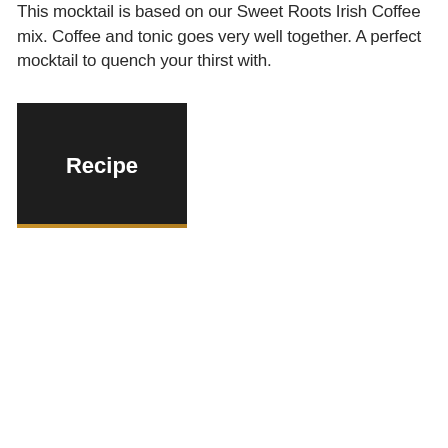This mocktail is based on our Sweet Roots Irish Coffee mix. Coffee and tonic goes very well together. A perfect mocktail to quench your thirst with.
Recipe